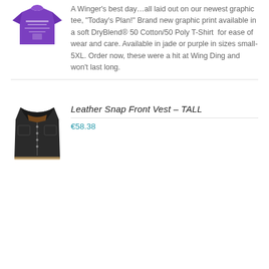[Figure (photo): Purple graphic t-shirt with 'Today's Plan' design]
A Winger's best day…all laid out on our newest graphic tee, "Today's Plan!" Brand new graphic print available in a soft DryBlend® 50 Cotton/50 Poly T-Shirt  for ease of wear and care. Available in jade or purple in sizes small- 5XL. Order now, these were a hit at Wing Ding and won't last long.
[Figure (photo): Black leather snap front vest - TALL]
Leather Snap Front Vest - TALL
€58.38